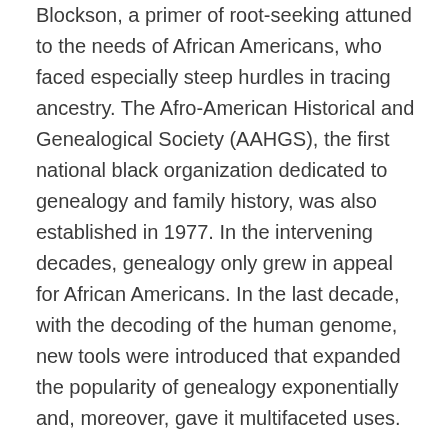Blockson, a primer of root-seeking attuned to the needs of African Americans, who faced especially steep hurdles in tracing ancestry. The Afro-American Historical and Genealogical Society (AAHGS), the first national black organization dedicated to genealogy and family history, was also established in 1977. In the intervening decades, genealogy only grew in appeal for African Americans. In the last decade, with the decoding of the human genome, new tools were introduced that expanded the popularity of genealogy exponentially and, moreover, gave it multifaceted uses.
I began research for The Social Life of DNA in 2003 after noting mention in the press of a DNA testing service that promised to help blacks trace their roots. I have continued. At that time, genetic ancestry...